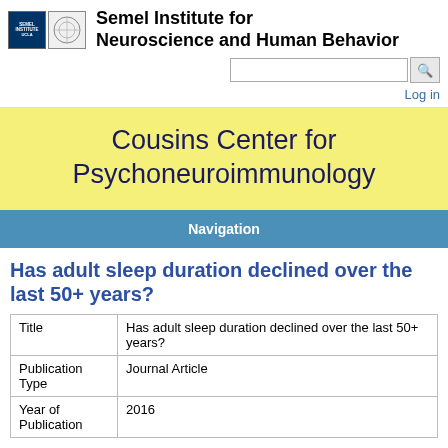[Figure (logo): Semel Institute and UCLA logos]
Semel Institute for Neuroscience and Human Behavior
Cousins Center for Psychoneuroimmunology
Navigation
Has adult sleep duration declined over the last 50+ years?
| Title | Has adult sleep duration declined over the last 50+ years? |
| Publication Type | Journal Article |
| Year of Publication | 2016 |